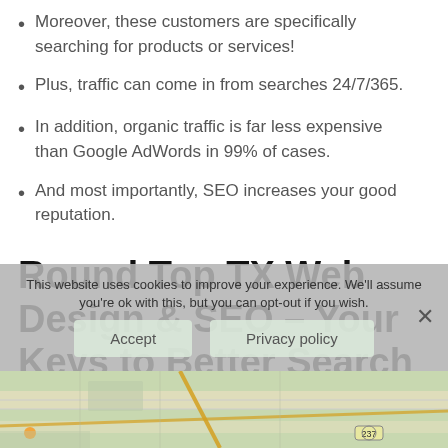Moreover, these customers are specifically searching for products or services!
Plus, traffic can come in from searches 24/7/365.
In addition, organic traffic is far less expensive than Google AdWords in 99% of cases.
And most importantly, SEO increases your good reputation.
Round Top TX Web Design & SEO – Your Keys to Better Search Engine Placement
[Figure (map): Map showing Round Top TX area with road markings and route 237 visible]
This website uses cookies to improve your experience. We'll assume you're ok with this, but you can opt-out if you wish.